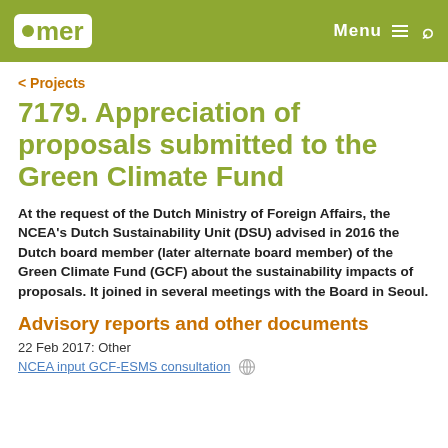mer | Menu | Search
< Projects
7179. Appreciation of proposals submitted to the Green Climate Fund
At the request of the Dutch Ministry of Foreign Affairs, the NCEA's Dutch Sustainability Unit (DSU) advised in 2016 the Dutch board member (later alternate board member) of the Green Climate Fund (GCF) about the sustainability impacts of proposals. It joined in several meetings with the Board in Seoul.
Advisory reports and other documents
22 Feb 2017: Other
NCEA input GCF-ESMS consultation